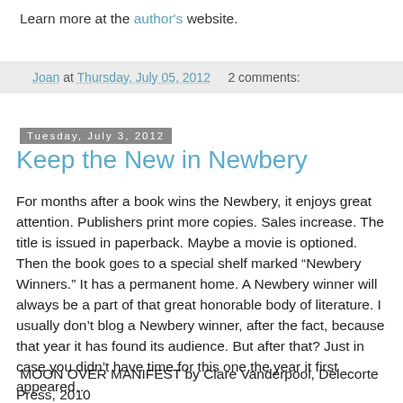Learn more at the author's website.
Joan at Thursday, July 05, 2012   2 comments:
Tuesday, July 3, 2012
Keep the New in Newbery
For months after a book wins the Newbery, it enjoys great attention. Publishers print more copies. Sales increase. The title is issued in paperback. Maybe a movie is optioned. Then the book goes to a special shelf marked “Newbery Winners.” It has a permanent home. A Newbery winner will always be a part of that great honorable body of literature. I usually don’t blog a Newbery winner, after the fact, because that year it has found its audience. But after that? Just in case you didn’t have time for this one the year it first appeared…
MOON OVER MANIFEST by Clare Vanderpool, Delecorte Press, 2010